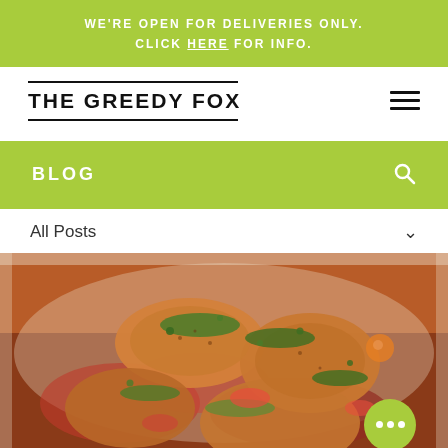WE'RE OPEN FOR DELIVERIES ONLY. CLICK HERE FOR INFO.
THE GREEDY FOX
BLOG
All Posts
[Figure (photo): Close-up photo of baked chicken pieces with herbs, tomatoes, and vegetables in a white baking dish, garnished with fresh chopped parsley]